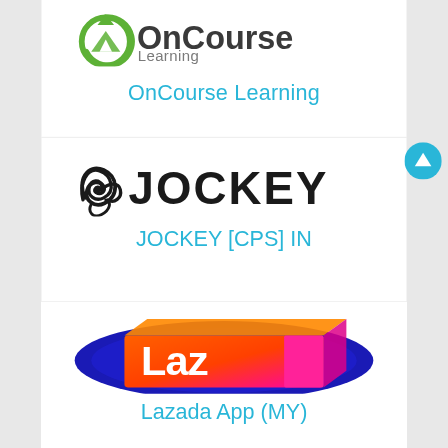[Figure (logo): OnCourse Learning logo with green circular arrow icon and text 'OnCourse Learning']
OnCourse Learning
[Figure (logo): Jockey brand logo with decorative swirl icon and large bold JOCKEY text]
JOCKEY [CPS] IN
[Figure (logo): Lazada App logo with dark blue oval background and colorful orange-pink gradient block with white 'Laz' text]
Lazada App (MY)